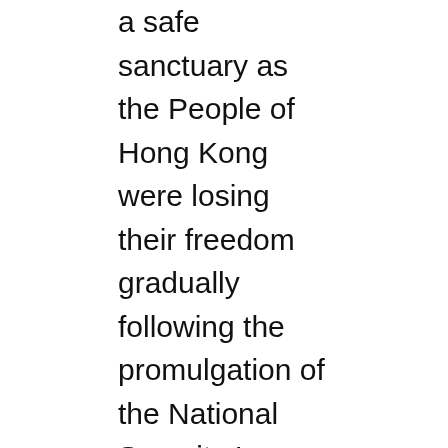a safe sanctuary as the People of Hong Kong were losing their freedom gradually following the promulgation of the National Security Law as they subsequently faced persecution and prison terms, dissidents, and members of the opposition, The Singapore Post reported.
Beijing is now planning to bring Taiwan under its control, sending military aircraft and naval ships to the island territory to browbeat Taipei. The world has now spurred in support of Taiwan, with the US posing an intimidating challenge to the Chinese military, the report added.